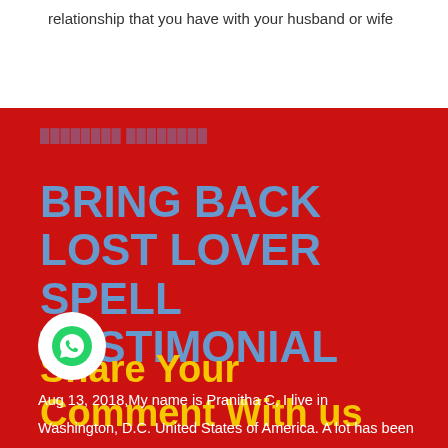relationship that you have with your husband or wife
BRING BACK LOST LOVER SPELL TESTIMONIAL
Share Your Comment With us
Aug 13, 2018,My name is Pranitha C, I live in Washington, D.C. United States of America. A lot has been